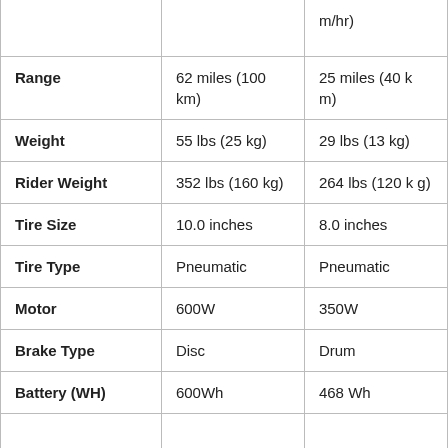|  |  | m/hr) |
| Range | 62 miles (100 km) | 25 miles (40 km) |
| Weight | 55 lbs (25 kg) | 29 lbs (13 kg) |
| Rider Weight | 352 lbs (160 kg) | 264 lbs (120 kg) |
| Tire Size | 10.0 inches | 8.0 inches |
| Tire Type | Pneumatic | Pneumatic |
| Motor | 600W | 350W |
| Brake Type | Disc | Drum |
| Battery (WH) | 600Wh | 468 Wh |
|  |  |  |